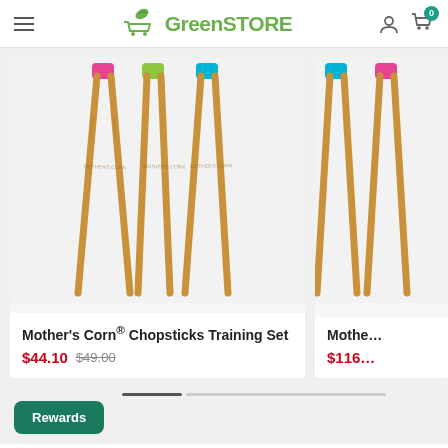GreenSTORE
[Figure (photo): Training chopsticks with colorful silicone connectors (pink, green, teal) and bamboo sticks on white background]
Mother's Corn® Chopsticks Training Set
$44.10 $49.00
Mothe... $116...
Rewards